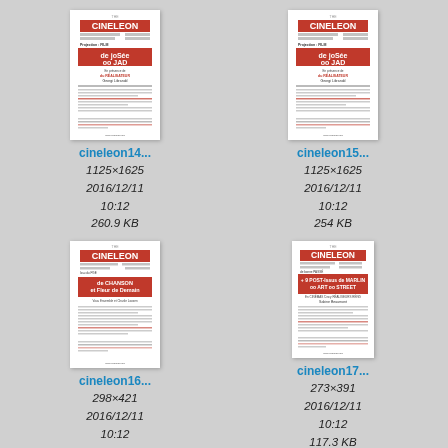[Figure (screenshot): Thumbnail of cineleon14 flyer, a Cine Leon event poster with red and black design]
cineleon14...
1125×1625
2016/12/11 10:12
260.9 KB
[Figure (screenshot): Thumbnail of cineleon15 flyer, a Cine Leon event poster with red and black design]
cineleon15...
1125×1625
2016/12/11 10:12
254 KB
[Figure (screenshot): Thumbnail of cineleon16 flyer, a Cine Leon event poster with red and black design]
cineleon16...
298×421
2016/12/11 10:12
121.4 KB
[Figure (screenshot): Thumbnail of cineleon17 flyer, a Cine Leon event poster with red and black design]
cineleon17...
273×391
2016/12/11 10:12
117.3 KB